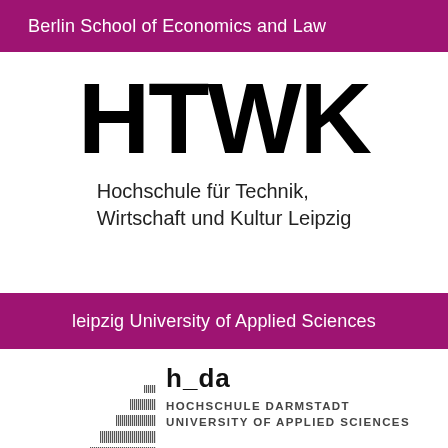Berlin School of Economics and Law
[Figure (logo): HTWK logo with large bold letters I-HTWK and subtitle Hochschule für Technik, Wirtschaft und Kultur Leipzig]
Hochschule für Technik,
Wirtschaft und Kultur Leipzig
leipzig University of Applied Sciences
[Figure (logo): h_da logo with staircase bar graphic and text HOCHSCHULE DARMSTADT UNIVERSITY OF APPLIED SCIENCES]